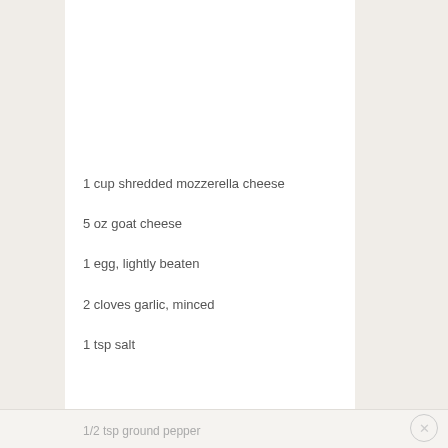1 cup shredded mozzerella cheese
5 oz goat cheese
1 egg, lightly beaten
2 cloves garlic, minced
1 tsp salt
1/2 tsp ground pepper